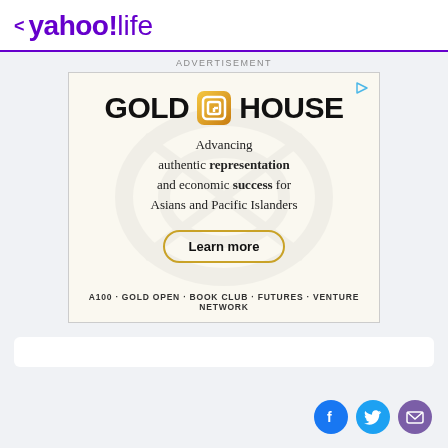< yahoo!life
ADVERTISEMENT
[Figure (infographic): Gold House advertisement banner. Shows 'GOLD HOUSE' logo with golden icon, tagline 'Advancing authentic representation and economic success for Asians and Pacific Islanders', a 'Learn more' button, and program list: A100 · GOLD OPEN · BOOK CLUB · FUTURES · VENTURE NETWORK]